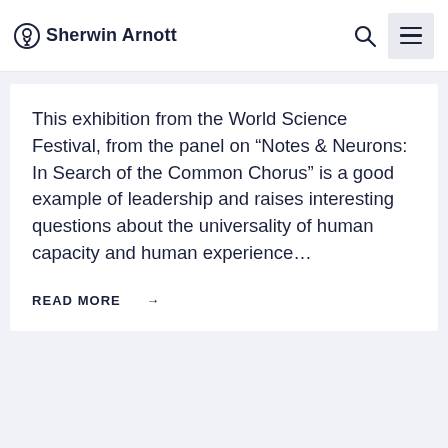Sherwin Arnott
This exhibition from the World Science Festival, from the panel on “Notes & Neurons: In Search of the Common Chorus” is a good example of leadership and raises interesting questions about the universality of human capacity and human experience…
READ MORE →